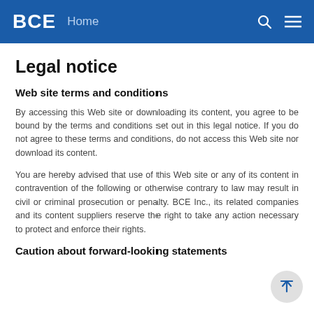BCE Home
Legal notice
Web site terms and conditions
By accessing this Web site or downloading its content, you agree to be bound by the terms and conditions set out in this legal notice. If you do not agree to these terms and conditions, do not access this Web site nor download its content.
You are hereby advised that use of this Web site or any of its content in contravention of the following or otherwise contrary to law may result in civil or criminal prosecution or penalty. BCE Inc., its related companies and its content suppliers reserve the right to take any action necessary to protect and enforce their rights.
Caution about forward-looking statements